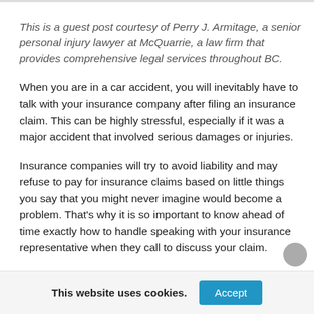This is a guest post courtesy of Perry J. Armitage, a senior personal injury lawyer at McQuarrie, a law firm that provides comprehensive legal services throughout BC.
When you are in a car accident, you will inevitably have to talk with your insurance company after filing an insurance claim. This can be highly stressful, especially if it was a major accident that involved serious damages or injuries.
Insurance companies will try to avoid liability and may refuse to pay for insurance claims based on little things you say that you might never imagine would become a problem. That's why it is so important to know ahead of time exactly how to handle speaking with your insurance representative when they call to discuss your claim.
This website uses cookies.